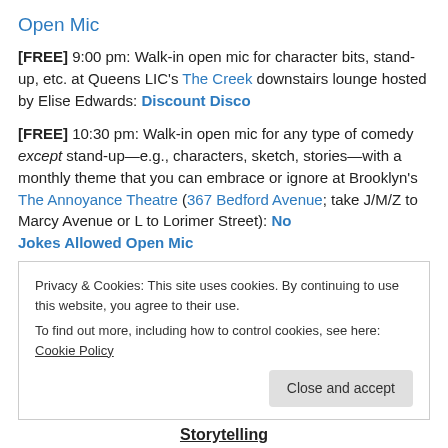Open Mic
[FREE] 9:00 pm: Walk-in open mic for character bits, stand-up, etc. at Queens LIC's The Creek downstairs lounge hosted by Elise Edwards: Discount Disco
[FREE] 10:30 pm: Walk-in open mic for any type of comedy except stand-up—e.g., characters, sketch, stories—with a monthly theme that you can embrace or ignore at Brooklyn's The Annoyance Theatre (367 Bedford Avenue; take J/M/Z to Marcy Avenue or L to Lorimer Street): No Jokes Allowed Open Mic
Privacy & Cookies: This site uses cookies. By continuing to use this website, you agree to their use. To find out more, including how to control cookies, see here: Cookie Policy
Storytelling